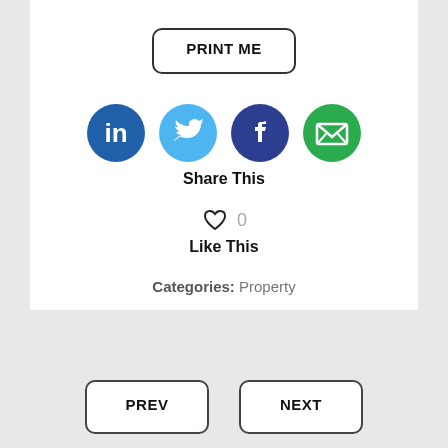[Figure (other): PRINT ME button with rounded rectangle border]
[Figure (other): Social media icons: LinkedIn (blue circle with 'in'), Twitter (light blue circle with bird), Facebook (dark blue circle with 'f'), Email (green circle with envelope). Below icons: 'Share This' label.]
Share This
[Figure (other): Heart outline icon with count '0' and label 'Like This']
Like This
Categories: Property
[Figure (other): PREV and NEXT navigation buttons with rounded rectangle borders]